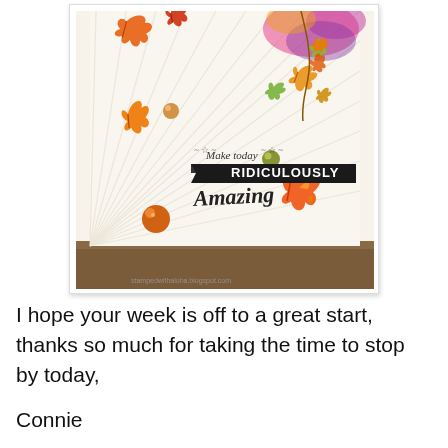[Figure (photo): A handmade greeting card featuring colorful autumn/fall leaves in orange, red, green and yellow watercolor style arranged in the top-right and scattered around the card. The card has radiating diagonal line texture in the background. Three decorative round gems/dots are placed on the card (orange at bottom-left, olive green in the middle-right, orange-red near center-left). A stamped sentiment in the center reads 'Make today RIDICULOUSLY Amazing' in mixed typography with script and bold banner text.]
I hope your week is off to a great start, thanks so much for taking the time to stop by today,
Connie